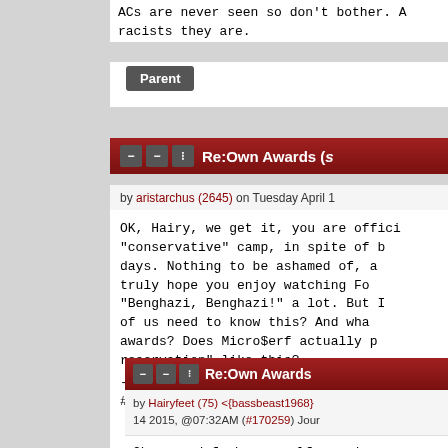ACs are never seen so don't bother. As racists they are.
Parent
Re:Own Awards (s
by aristarchus (2645) on Tuesday April 1
OK, Hairy, we get it, you are offici... "conservative" camp, in spite of b... days. Nothing to be ashamed of, a... truly hope you enjoy watching Fo... "Benghazi, Benghazi!" a lot. But I... of us need to know this? And wha... awards? Does Micro$erf actually p... reservation" like this?
--
#Freearistarchus, again!!!!!!1!!
Parent
Re:Own Awards
by Hairyfeet (75) <{bassbeast1968} 14 2015, @07:32AM (#170259) Jour
Oh go and fuck yourself you da